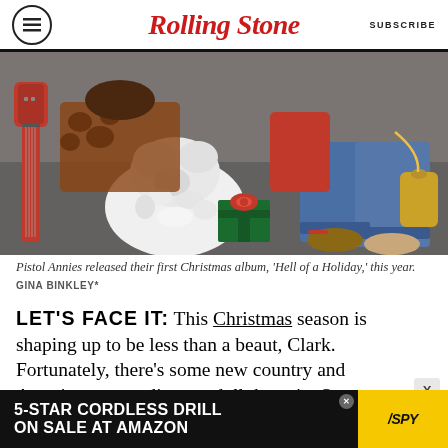RollingStone  SUBSCRIBE
[Figure (photo): Pistol Annies Christmas photo: people sitting with gifts, a white fluffy dog, a red electric guitar, wearing jeans and holiday attire]
Pistol Annies released their first Christmas album, 'Hell of a Holiday,' this year.  GINA BINKLEY*
LET'S FACE IT: This Christmas season is shaping up to be less than a beaut, Clark. Fortunately, there's some new country and Americana recordings to dull the pain. Some extol the virtues of simply getting drunk or stoned, while others look to brighter and more clear-eyed days
[Figure (other): Advertisement: 5-STAR CORDLESS DRILL ON SALE AT AMAZON — SPY logo on yellow background]